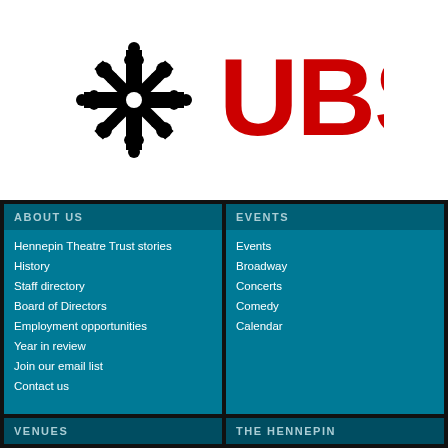[Figure (logo): UBS logo with black ornamental cross/keys symbol on left and large red UBS text on right]
ABOUT US
Hennepin Theatre Trust stories
History
Staff directory
Board of Directors
Employment opportunities
Year in review
Join our email list
Contact us
EVENTS
Events
Broadway
Concerts
Comedy
Calendar
VENUES
THE HENNEPIN